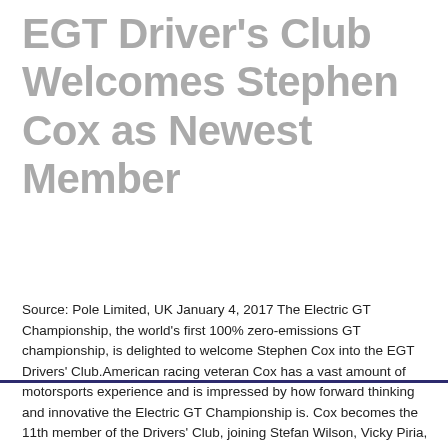EGT Driver's Club Welcomes Stephen Cox as Newest Member
Source: Pole Limited, UK January 4, 2017 The Electric GT Championship, the world's first 100% zero-emissions GT championship, is delighted to welcome Stephen Cox into the EGT Drivers' Club.American racing veteran Cox has a vast amount of motorsports experience and is impressed by how forward thinking and innovative the Electric GT Championship is. Cox becomes the 11th member of the Drivers' Club, joining Stefan Wilson, Vicky Piria, Dani Clos, Leilani Munter, Tom Coronel, Alice Powell, Tom Onslow-Cole, Ricardo Teixeira, Jeroen Bleekemolen and Kevin Ceccon, with an eventual 20 drivers being chosen to race the all-new Tesla Model S P100D. Born Read More